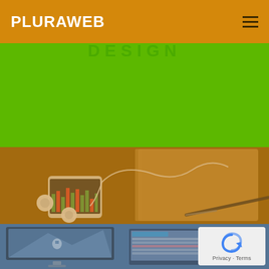PLURAWEB
DESIGN
[Figure (photo): Desk scene with white earbuds, smartphone showing music/chart app, notebook and pen, with warm amber/orange color overlay]
[Figure (photo): iMac and laptop computers showing web interface/dashboard, with blue color overlay]
Privacy · Terms